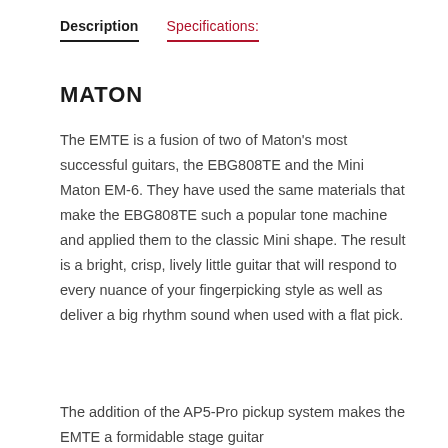Description
Specifications:
MATON
The EMTE is a fusion of two of Maton's most successful guitars, the EBG808TE and the Mini Maton EM-6. They have used the same materials that make the EBG808TE such a popular tone machine and applied them to the classic Mini shape. The result is a bright, crisp, lively little guitar that will respond to every nuance of your fingerpicking style as well as deliver a big rhythm sound when used with a flat pick.
The addition of the AP5-Pro pickup system makes the EMTE a formidable stage guitar